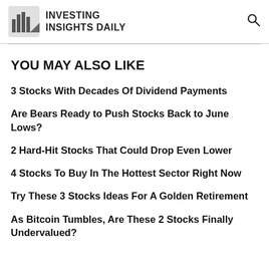INVESTING INSIGHTS DAILY
YOU MAY ALSO LIKE
3 Stocks With Decades Of Dividend Payments
Are Bears Ready to Push Stocks Back to June Lows?
2 Hard-Hit Stocks That Could Drop Even Lower
4 Stocks To Buy In The Hottest Sector Right Now
Try These 3 Stocks Ideas For A Golden Retirement
As Bitcoin Tumbles, Are These 2 Stocks Finally Undervalued?